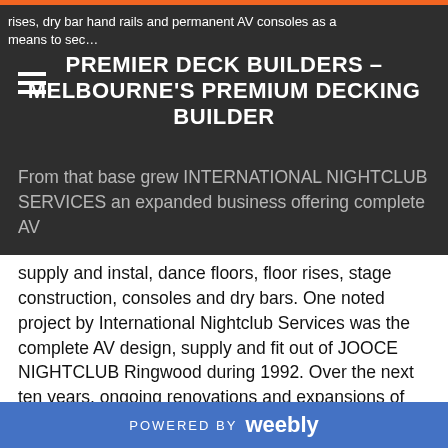rises, dry bar hand rails and permanent AV consoles as a means to sec…
PREMIER DECK BUILDERS – MELBOURNE'S PREMIUM DECKING BUILDER
From that base grew INTERNATIONAL NIGHTCLUB SERVICES an expanded business offering complete AV supply and instal, dance floors, floor rises, stage construction, consoles and dry bars. One noted project by International Nightclub Services was the complete AV design, supply and fit out of JOOCE NIGHTCLUB Ringwood during 1992. Over the next ten years, ongoing renovations and expansions of the JOOCE nightclub, along with other metropolitan and country venues ensured continuing building activity within I.N.S.
In 2003 DECAID was formed with the express aim of adapting the nightclub fit out knowledge into the MELBOURNE domestic market. Deck construction is in
POWERED BY weebly